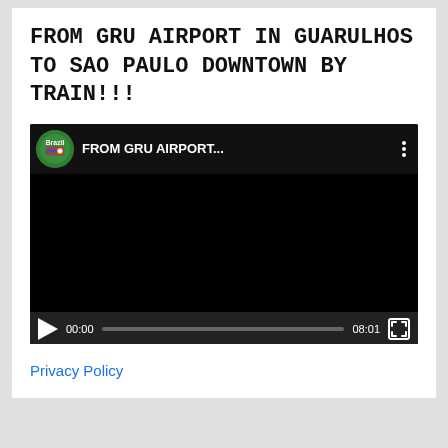FROM GRU AIRPORT IN GUARULHOS TO SAO PAULO DOWNTOWN BY TRAIN!!!
[Figure (screenshot): Embedded YouTube video player showing 'FROM GRU AIRPORT...' with channel icon, video title, three-dot menu, black video area, play button, time 00:00, progress bar, duration 08:01, and fullscreen button.]
Privacy Policy